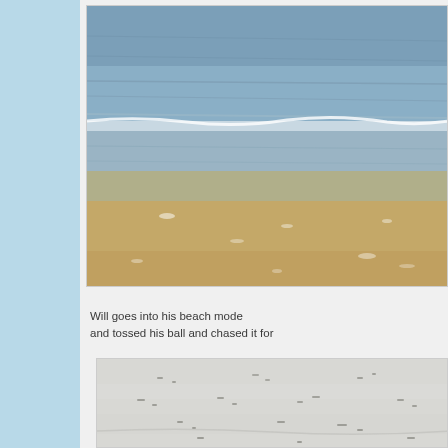[Figure (photo): Aerial or close-up view of ocean waves and sandy beach shore, showing blue-gray water transitioning to tan/brown wet sand]
Will goes into his beach mode and tossed his ball and chased it for
[Figure (photo): Sandy beach surface with scattered small marks or footprints on light gray/white sand]